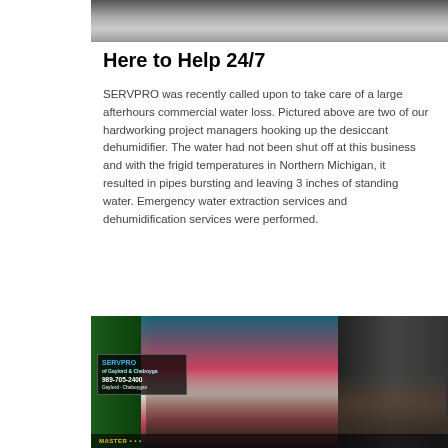[Figure (photo): Partial view of a commercial water loss scene showing project managers hooking up a desiccant dehumidifier — top portion cropped]
Here to Help 24/7
SERVPRO was recently called upon to take care of a large afterhours commercial water loss. Pictured above are two of our hardworking project managers hooking up the desiccant dehumidifier. The water had not been shut off at this business and with the frigid temperatures in Northern Michigan, it resulted in pipes bursting and leaving 3 inches of standing water. Emergency water extraction services and dehumidification services were performed.
[Figure (photo): SERVPRO of Gaylord & Cheboygan parade float at a Christmas parade at night, decorated with lights and inflatable characters, people in Santa hats visible, sign reads SERVPRO of Gaylord & Cheboyga 989-705-2400]